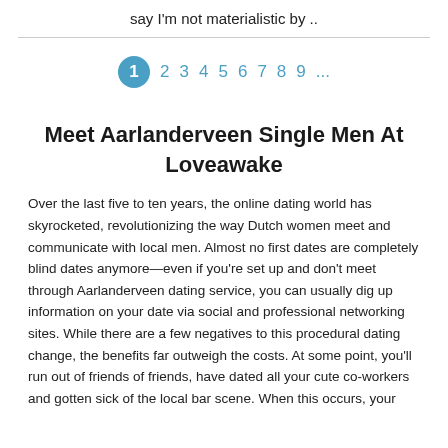say I'm not materialistic by ..
1 2 3 4 5 6 7 8 9 ...
Meet Aarlanderveen Single Men At Loveawake
Over the last five to ten years, the online dating world has skyrocketed, revolutionizing the way Dutch women meet and communicate with local men. Almost no first dates are completely blind dates anymore—even if you're set up and don't meet through Aarlanderveen dating service, you can usually dig up information on your date via social and professional networking sites. While there are a few negatives to this procedural dating change, the benefits far outweigh the costs. At some point, you'll run out of friends of friends, have dated all your cute co-workers and gotten sick of the local bar scene. When this occurs, your